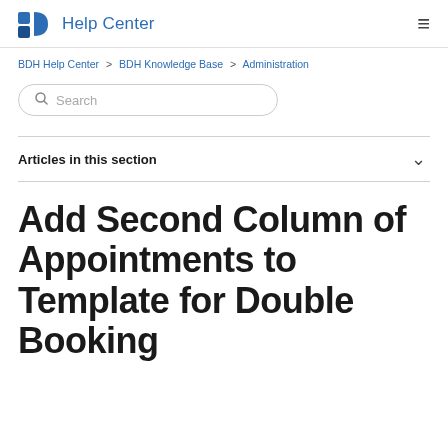BD Help Center
BDH Help Center > BDH Knowledge Base > Administration
Search
Articles in this section
Add Second Column of Appointments to Template for Double Booking